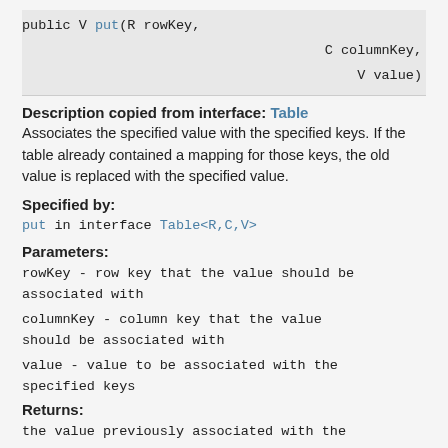public V put(R rowKey,
                                    C columnKey,
                                    V value)
Description copied from interface: Table
Associates the specified value with the specified keys. If the table already contained a mapping for those keys, the old value is replaced with the specified value.
Specified by:
put in interface Table<R,C,V>
Parameters:
rowKey - row key that the value should be associated with
columnKey - column key that the value should be associated with
value - value to be associated with the specified keys
Returns:
the value previously associated with the